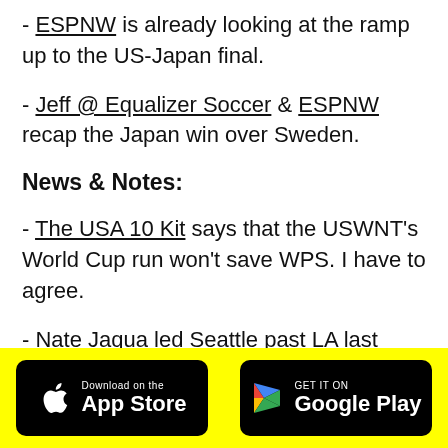- ESPNW is already looking at the ramp up to the US-Japan final.
- Jeff @ Equalizer Soccer & ESPNW recap the Japan win over Sweden.
News & Notes:
- The USA 10 Kit says that the USWNT's World Cup run won't save WPS. I have to agree.
- Nate Jaqua led Seattle past LA last night and into the USOC semifinals.
- Montreal tied Fort Lauderdale and FC Edmonton
[Figure (logo): Download on the App Store button (black rounded rectangle with Apple logo)]
[Figure (logo): Get it on Google Play button (black rounded rectangle with Google Play logo)]